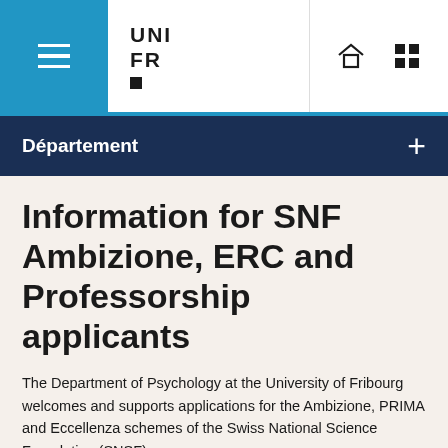UNI FR
Département
Information for SNF Ambizione, ERC and Professorship applicants
The Department of Psychology at the University of Fribourg welcomes and supports applications for the Ambizione, PRIMA and Eccellenza schemes of the Swiss National Science Foundation (SNSF).
We have an internal reviewing procedure to decide which applicants we would like to offer our full support. We thus invite you to express your interest to apply for one of those SNF schemes, by sending the title of your project, an abstract and your CV to the Head of